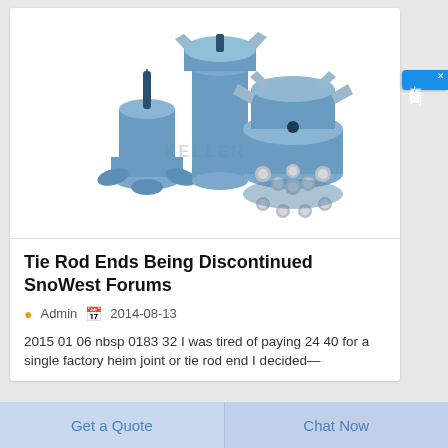[Figure (photo): Three blue drill bits / rock drilling tools shown: a tapered button bit, a cross-bit, and a flat-face insert bit, with KELLER watermark]
Tie Rod Ends Being Discontinued SnoWest Forums
Admin   2014-08-13
2015 01 06 nbsp 0183 32 I was tired of paying 24 40 for a single factory heim joint or tie rod end I decided—